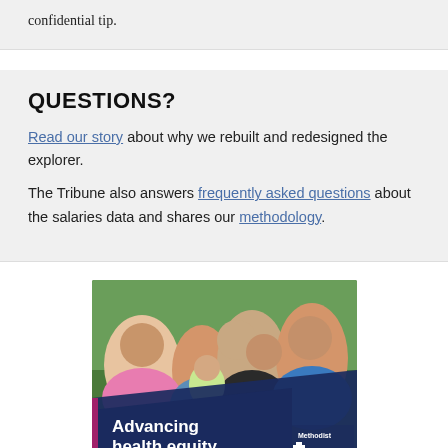confidential tip.
QUESTIONS?
Read our story about why we rebuilt and redesigned the explorer.
The Tribune also answers frequently asked questions about the salaries data and shares our methodology.
[Figure (photo): Advertisement image showing a smiling Hispanic family outdoors with text 'Advancing health equity' and a Methodist Health System logo overlay]